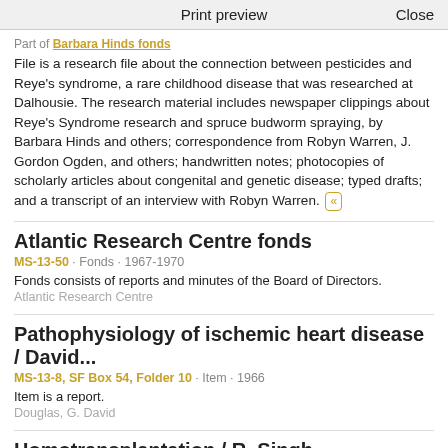Print preview    Close
Part of Barbara Hinds fonds
File is a research file about the connection between pesticides and Reye's syndrome, a rare childhood disease that was researched at Dalhousie. The research material includes newspaper clippings about Reye's Syndrome research and spruce budworm spraying, by Barbara Hinds and others; correspondence from Robyn Warren, J. Gordon Ogden, and others; handwritten notes; photocopies of scholarly articles about congenital and genetic disease; typed drafts; and a transcript of an interview with Robyn Warren. «
Atlantic Research Centre fonds
MS-13-50 · Fonds · 1967-1970
Fonds consists of reports and minutes of the Board of Directors.
Atlantic Research Centre
Pathophysiology of ischemic heart disease / David...
MS-13-8, SF Box 54, Folder 10 · Item · 1966
Item is a report.
Douglas, G. David
Homotransplantation / R. Singh